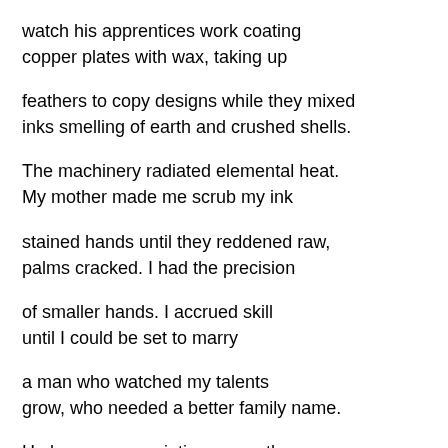watch his apprentices work coating
copper plates with wax, taking up
feathers to copy designs while they mixed
inks smelling of earth and crushed shells.
The machinery radiated elemental heat.
My mother made me scrub my ink
stained hands until they reddened raw,
palms cracked. I had the precision
of smaller hands. I accrued skill
until I could be set to marry
a man who watched my talents
grow, who needed a better family name.
He became my printing press, the source
of copper and care to wipe the ink, perfect